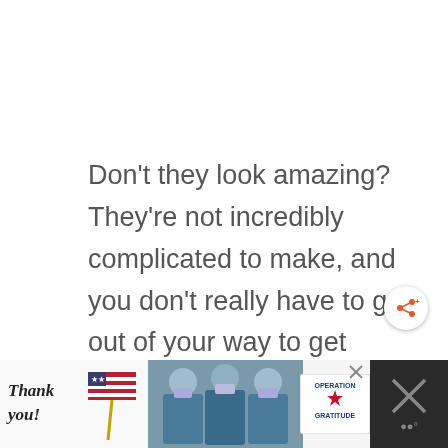Don't they look amazing? They're not incredibly complicated to make, and you don't really have to go out of your way to get fancy ingredients. However, there are a few secrets to taking them from delicious to insanely awesome:
[Figure (other): Share button - circular white button with share icon and plus sign in orange/red color]
[Figure (other): Advertisement banner at bottom: 'Thank you!' text with US flag illustration on left, photo of nurses/medical workers in masks holding packages in center, Operation Gratitude logo on right, close buttons visible]